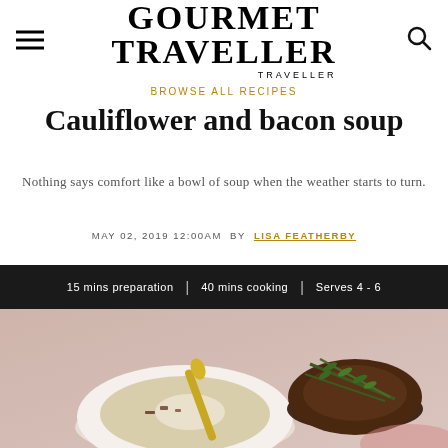GOURMET TRAVELLER
BROWSE ALL RECIPES
Cauliflower and bacon soup
Nothing says comfort like a bowl of soup when the weather starts to turn.
MAY 02, 2019 12:00AM BY LISA FEATHERBY
15 mins preparation  |  40 mins cooking  |  Serves 4 - 6
[Figure (photo): Bowl of cauliflower and bacon soup with a golden spoon, and a dark ceramic bowl with rosemary sprigs beside it on a pink surface.]